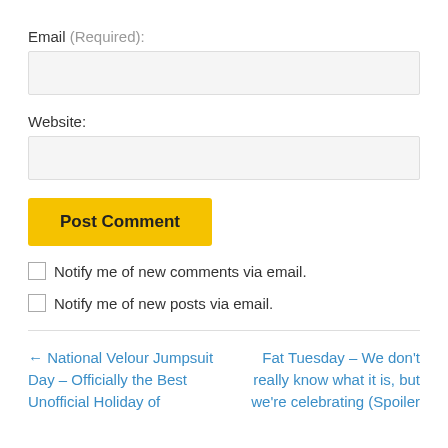Email (Required):
Website:
Post Comment
Notify me of new comments via email.
Notify me of new posts via email.
← National Velour Jumpsuit Day – Officially the Best Unofficial Holiday of
Fat Tuesday – We don't really know what it is, but we're celebrating (Spoiler